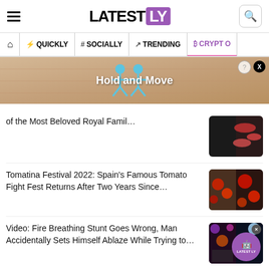LATESTLY
QUICKLY | # SOCIALLY | TRENDING | CRYPTO
[Figure (photo): Advertisement banner showing 'Hold and Move' text with cartoon figures on a sandy/wooden background]
of the Most Beloved Royal Famil…
Tomatina Festival 2022: Spain's Famous Tomato Fight Fest Returns After Two Years Since…
Video: Fire Breathing Stunt Goes Wrong, Man Accidentally Sets Himself Ablaze While Trying to…